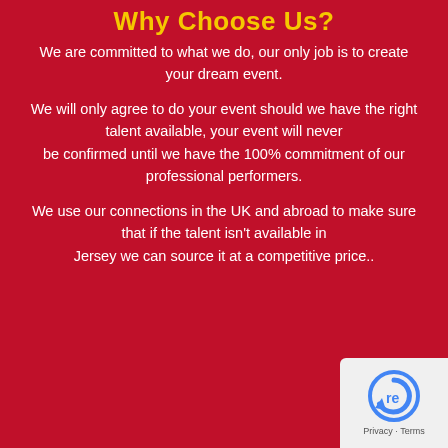Why Choose Us?
We are committed to what we do, our only job is to create your dream event.
We will only agree to do your event should we have the right talent available, your event will never be confirmed until we have the 100% commitment of our professional performers.
We use our connections in the UK and abroad to make sure that if the talent isn't available in Jersey we can source it at a competitive price..
[Figure (logo): reCAPTCHA badge with Privacy and Terms links]